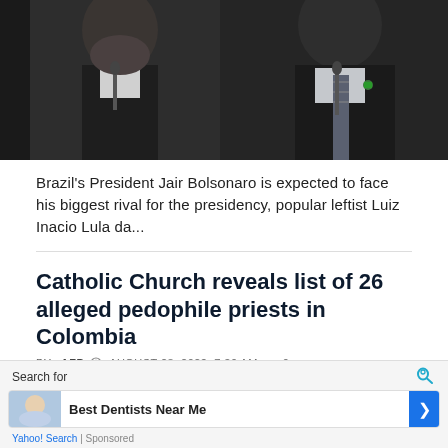[Figure (photo): Two men in dark suits at microphones — a bearded older man on the left and another man in a striped tie on the right, against a dark background.]
Brazil's President Jair Bolsonaro is expected to face his biggest rival for the presidency, popular leftist Luiz Inacio Lula da...
Catholic Church reveals list of 26 alleged pedophile priests in Colombia
BY AFP   AUGUST 28, 2022, 7:30 AM   0
[Figure (photo): Gray placeholder image for article about Catholic Church and alleged pedophile priests in Colombia.]
Search for
Best Dentists Near Me
Yahoo! Search | Sponsored